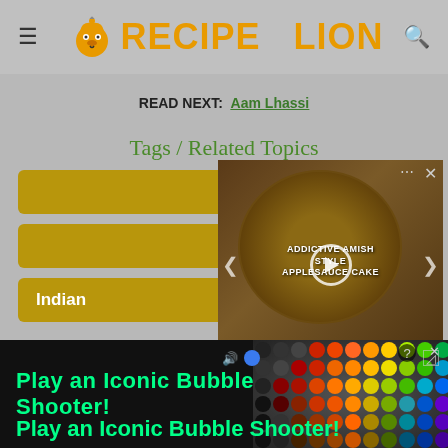RecipeLion
READ NEXT: Aam Lhassi
Tags / Related Topics
Indian
[Figure (screenshot): Video player showing Addictive Amish Style Applesauce Cake recipe video with play button, mute icon, progress indicator, and close/more buttons overlaid on a food photo.]
[Figure (screenshot): Advertisement banner: Play an Iconic Bubble Shooter! with colorful bubbles graphic on dark background.]